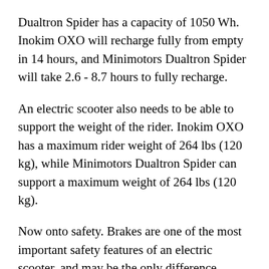Dualtron Spider has a capacity of 1050 Wh. Inokim OXO will recharge fully from empty in 14 hours, and Minimotors Dualtron Spider will take 2.6 - 8.7 hours to fully recharge.
An electric scooter also needs to be able to support the weight of the rider. Inokim OXO has a maximum rider weight of 264 lbs (120 kg), while Minimotors Dualtron Spider can support a maximum weight of 264 lbs (120 kg).
Now onto safety. Brakes are one of the most important safety features of an electric scooter, and may be the only difference between a safely completed journey and a trip to the emergency room. There are a number of different brake